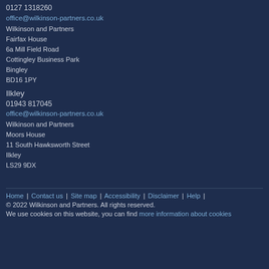0127 1318260
office@wilkinson-partners.co.uk
Wilkinson and Partners
Fairfax House
6a Mill Field Road
Cottingley Business Park
Bingley
BD16 1PY
Ilkley
01943 817045
office@wilkinson-partners.co.uk
Wilkinson and Partners
Moors House
11 South Hawksworth Street
Ilkley
LS29 9DX
Home | Contact us | Site map | Accessibility | Disclaimer | Help | © 2022 Wilkinson and Partners. All rights reserved. We use cookies on this website, you can find more information about cookies